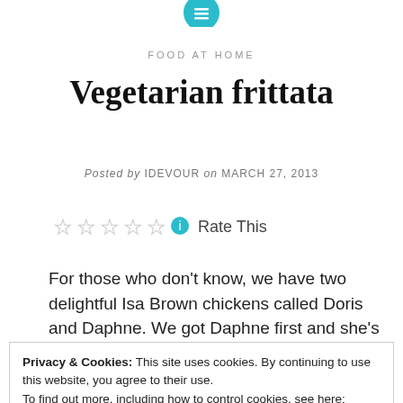[Figure (logo): Teal circular icon with menu/list lines at top center]
FOOD AT HOME
Vegetarian frittata
Posted by IDEVOUR on MARCH 27, 2013
☆☆☆☆☆ ℹ Rate This
For those who don't know, we have two delightful Isa Brown chickens called Doris and Daphne. We got Daphne first and she's top hen
Privacy & Cookies: This site uses cookies. By continuing to use this website, you agree to their use.
To find out more, including how to control cookies, see here: Cookie Policy
Close and accept
conversion for 1/3 of 2 normal eggs is 1 mini egg